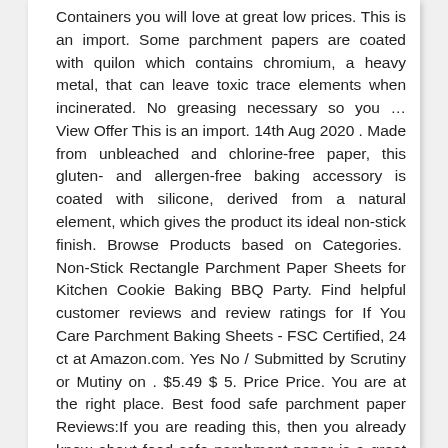Containers you will love at great low prices. This is an import. Some parchment papers are coated with quilon which contains chromium, a heavy metal, that can leave toxic trace elements when incinerated. No greasing necessary so you … View Offer This is an import. 14th Aug 2020 . Made from unbleached and chlorine-free paper, this gluten- and allergen-free baking accessory is coated with silicone, derived from a natural element, which gives the product its ideal non-stick finish. Browse Products based on Categories. Non-Stick Rectangle Parchment Paper Sheets for Kitchen Cookie Baking BBQ Party. Find helpful customer reviews and review ratings for If You Care Parchment Baking Sheets - FSC Certified, 24 ct at Amazon.com. Yes No / Submitted by Scrutiny or Mutiny on . $5.49 $ 5. Price Price. You are at the right place. Best food safe parchment paper Reviews:If you are reading this, then you already know about food safe parchment paper is a great product for you, your family or any other person whom you are planning to buy.Don't worry about price if you